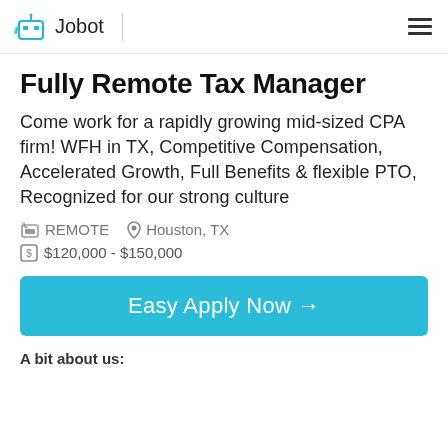Jobot
Fully Remote Tax Manager
Come work for a rapidly growing mid-sized CPA firm! WFH in TX, Competitive Compensation, Accelerated Growth, Full Benefits & flexible PTO, Recognized for our strong culture
REMOTE   Houston, TX
$120,000 - $150,000
Easy Apply Now →
A bit about us: